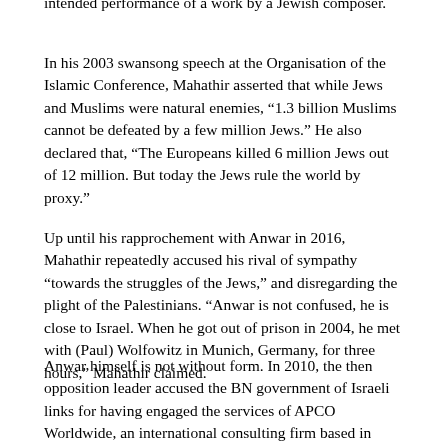intended performance of a work by a Jewish composer.
In his 2003 swansong speech at the Organisation of the Islamic Conference, Mahathir asserted that while Jews and Muslims were natural enemies, “1.3 billion Muslims cannot be defeated by a few million Jews.” He also declared that, “The Europeans killed 6 million Jews out of 12 million. But today the Jews rule the world by proxy.”
Up until his rapprochement with Anwar in 2016, Mahathir repeatedly accused his rival of sympathy “towards the struggles of the Jews,” and disregarding the plight of the Palestinians. “Anwar is not confused, he is close to Israel. When he got out of prison in 2004, he met with (Paul) Wolfowitz in Munich, Germany, for three hours,” Mahathir claimed.
Anwar himself is not without form. In 2010, the then opposition leader accused the BN government of Israeli links for having engaged the services of APCO Worldwide, an international consulting firm based in Washington that allegedly advised an Israeli election campaign and had two former Israeli officials on its 50-member advisory panel.